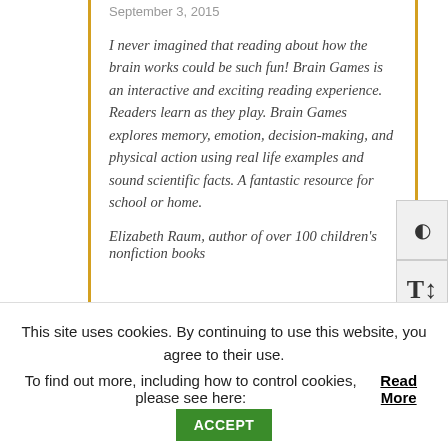September 3, 2015
I never imagined that reading about how the brain works could be such fun! Brain Games is an interactive and exciting reading experience. Readers learn as they play. Brain Games explores memory, emotion, decision-making, and physical action using real life examples and sound scientific facts. A fantastic resource for school or home.
Elizabeth Raum, author of over 100 children's nonfiction books
This site uses cookies. By continuing to use this website, you agree to their use.
To find out more, including how to control cookies, please see here: Read More
ACCEPT